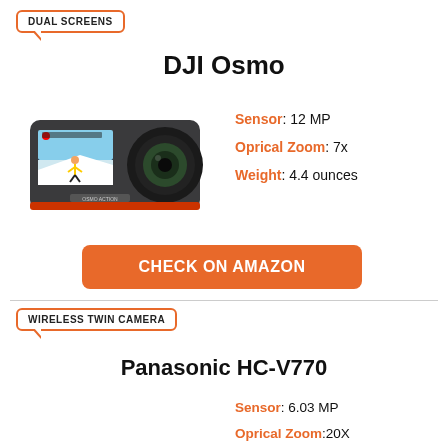DUAL SCREENS
DJI Osmo
[Figure (photo): DJI Osmo Action camera with dual screens showing a skier on the front display and a large camera lens]
Sensor: 12 MP
Oprical Zoom: 7x
Weight: 4.4 ounces
CHECK ON AMAZON
WIRELESS TWIN CAMERA
Panasonic HC-V770
Sensor: 6.03 MP
Oprical Zoom: 20X
Weight: 12.5 ounces